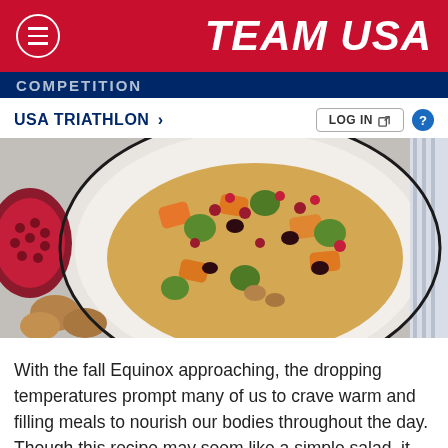TEAM USA
[Figure (photo): Team USA website screenshot header with red background, hamburger menu icon on left, bold italic white TEAM USA text on right]
USA TRIATHLON  >
[Figure (photo): A plate of couscous salad topped with roasted butternut squash, Brussels sprouts, pomegranate seeds, walnuts, and dried cranberries. Pomegranate halves and walnuts visible to the left, striped linen napkin to the right.]
With the fall Equinox approaching, the dropping temperatures prompt many of us to crave warm and filling meals to nourish our bodies throughout the day. Though this recipe may seem like a simple salad, it packs a hearty